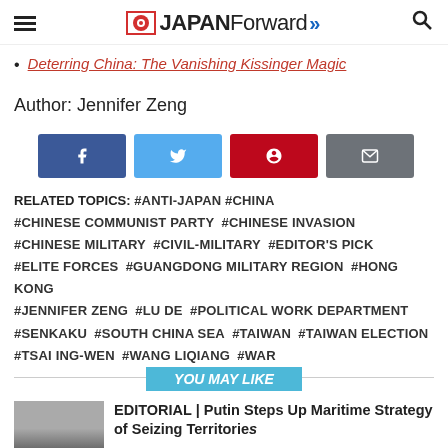JAPAN Forward
Deterring China: The Vanishing Kissinger Magic
Author: Jennifer Zeng
[Figure (infographic): Social share buttons: Facebook, Twitter, Pinterest, Email]
RELATED TOPICS: #ANTI-JAPAN #CHINA #CHINESE COMMUNIST PARTY #CHINESE INVASION #CHINESE MILITARY #CIVIL-MILITARY #EDITOR'S PICK #ELITE FORCES #GUANGDONG MILITARY REGION #HONG KONG #JENNIFER ZENG #LU DE #POLITICAL WORK DEPARTMENT #SENKAKU #SOUTH CHINA SEA #TAIWAN #TAIWAN ELECTION #TSAI ING-WEN #WANG LIQIANG #WAR
YOU MAY LIKE
EDITORIAL | Putin Steps Up Maritime Strategy of Seizing Territories